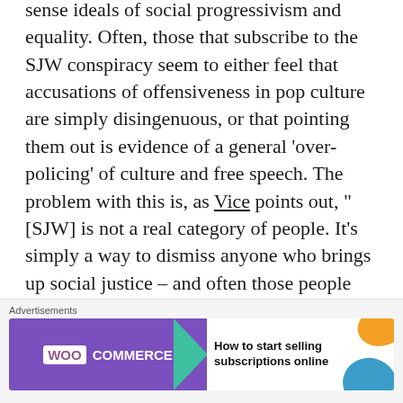sense ideals of social progressivism and equality. Often, those that subscribe to the SJW conspiracy seem to either feel that accusations of offensiveness in pop culture are simply disingenuous, or that pointing them out is evidence of a general 'over-policing' of culture and free speech. The problem with this is, as Vice points out, "[SJW] is not a real category of people. It's simply a way to dismiss anyone who brings up social justice – and often those people are feminists."
[Figure (other): WooCommerce advertisement banner: 'How to start selling subscriptions online']